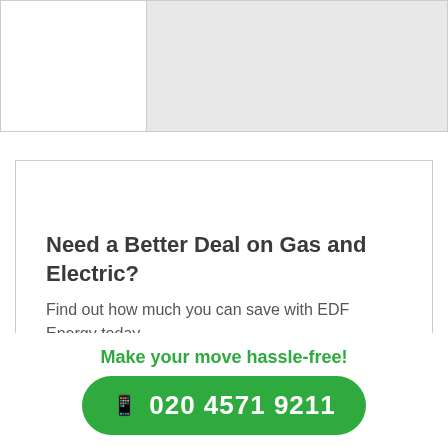[Figure (map): Partial view of a map with grey background area on the right side and white area on the left side, inside a bordered panel]
Need a Better Deal on Gas and Electric?
Find out how much you can save with EDF Energy today
Get a Quote
Make your move hassle-free!
020 4571 9211